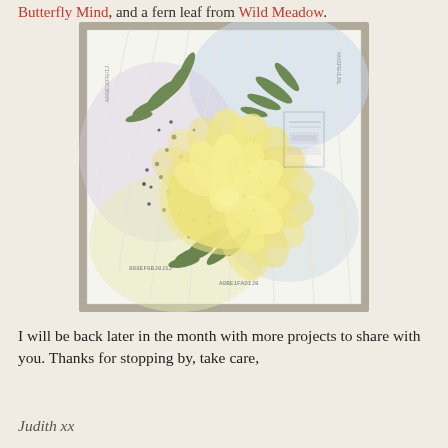Butterfly Mind, and a fern leaf from Wild Meadow.
[Figure (photo): A handmade craft card featuring a large yellow peony or chrysanthemum flower with green fern leaves, set against a pastel blue, purple, and yellow background with swirling patterns. Small dark dots and stamped text/script elements decorate the card borders and around the flower.]
I will be back later in the month with more projects to share with you. Thanks for stopping by, take care,
Judith xx